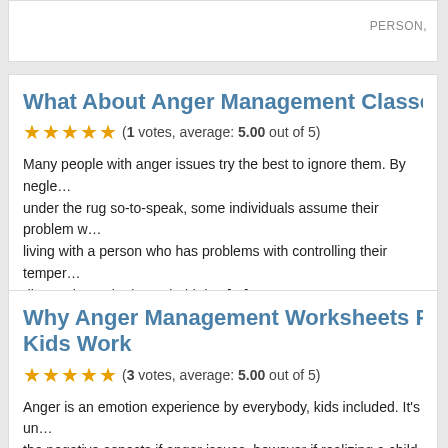PERSON,
What About Anger Management Classes
(1 votes, average: 5.00 out of 5)
Many people with anger issues try the best to ignore them. By neglecting the problem and sweeping it under the rug so-to-speak, some individuals assume their problem will go away. This is not always true as living with a person who has problems with controlling their temper, ... can disrupt the entire household due [...]
POSTED IN ANGER MANAGEMENT | TAGGED ANGER, PERSON,
Why Anger Management Worksheets For Kids Work
(3 votes, average: 5.00 out of 5)
Anger is an emotion experience by everybody, kids included. It's un... the negative aspects if anger issues, however if realizing a child has... imperative to work with them and get them actively involved in an a...